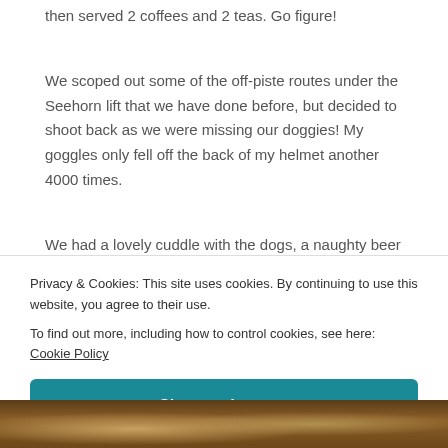then served 2 coffees and 2 teas. Go figure!
We scoped out some of the off-piste routes under the Seehorn lift that we have done before, but decided to shoot back as we were missing our doggies! My goggles only fell off the back of my helmet another 4000 times.
We had a lovely cuddle with the dogs, a naughty beer and another Game of Thrones. Not just the TV one; we had the real Game of Thrones in our room. All the pups
Privacy & Cookies: This site uses cookies. By continuing to use this website, you agree to their use.
To find out more, including how to control cookies, see here: Cookie Policy
Close and accept
[Figure (photo): Bottom strip showing a partial photo, likely of dogs, with warm brown tones]